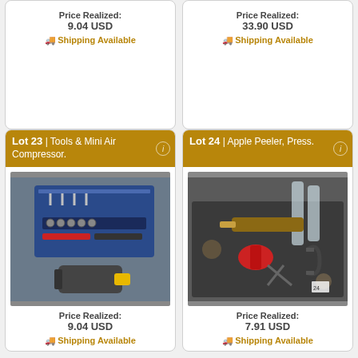Price Realized:
9.04 USD
Shipping Available
Price Realized:
33.90 USD
Shipping Available
Lot 23 | Tools & Mini Air Compressor.
[Figure (photo): A blue toolcase with wrenches, sockets, pliers, and a mini air compressor below it on a dark surface.]
Price Realized:
9.04 USD
Shipping Available
Lot 24 | Apple Peeler, Press.
[Figure (photo): A collection of kitchen tools including an apple peeler, red press, scissors, glass oil bottles, and other items on a dark tray.]
Price Realized:
7.91 USD
Shipping Available